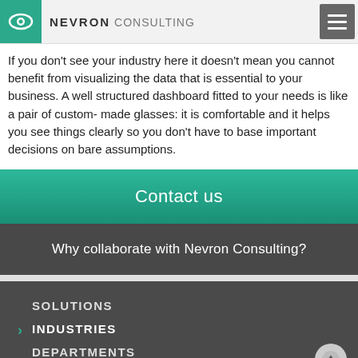NEVRON CONSULTING
If you don't see your industry here it doesn't mean you cannot benefit from visualizing the data that is essential to your business. A well structured dashboard fitted to your needs is like a pair of custom- made glasses: it is comfortable and it helps you see things clearly so you don't have to base important decisions on bare assumptions.
Contact us
Why collaborate with Nevron Consulting?
SOLUTIONS
INDUSTRIES
DEPARTMENTS
ABOUT